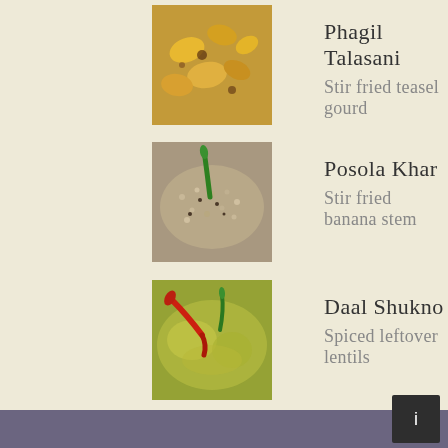[Figure (photo): Photo of Phagil Talasani - stir fried teasel gourd dish, yellowish-orange pieces]
Phagil Talasani
Stir fried teasel gourd
[Figure (photo): Photo of Posola Khar - stir fried banana stem dish with green chili]
Posola Khar
Stir fried banana stem
[Figure (photo): Photo of Daal Shukno - spiced leftover lentils, yellow-green dish with red chili]
Daal Shukno
Spiced leftover lentils
To search type and hit enter